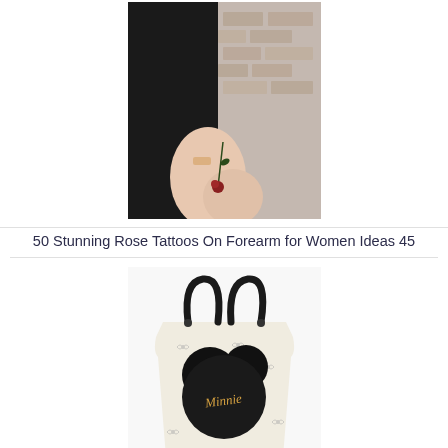[Figure (photo): Person wearing black outfit showing wrist with a small rose tattoo, brick wall background]
50 Stunning Rose Tattoos On Forearm for Women Ideas 45
[Figure (photo): Minnie Mouse themed handbag in beige/white with bow print pattern, black handles and Minnie ears decoration with 'Minnie' text]
30 Minnie Mouse Handbag ideas 9
[Figure (photo): Partial view of person with dark purple/brown hair]